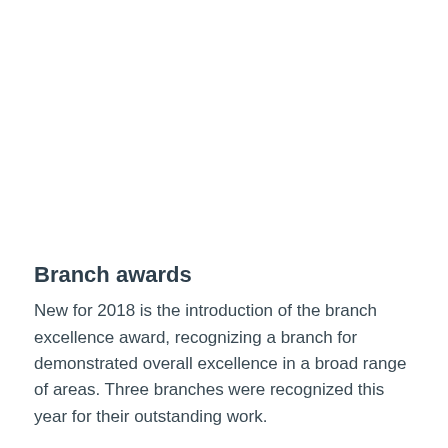Branch awards
New for 2018 is the introduction of the branch excellence award, recognizing a branch for demonstrated overall excellence in a broad range of areas. Three branches were recognized this year for their outstanding work.